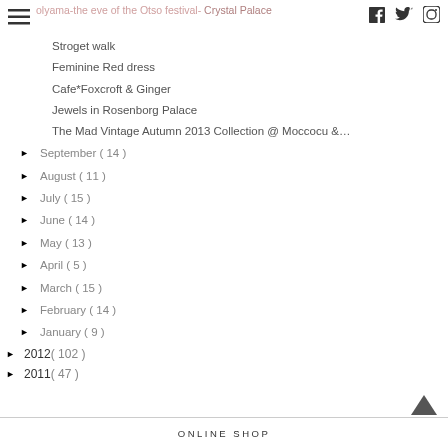olyama-the eve of the Otso festival- Crystal Palace
Stroget walk
Feminine Red dress
Cafe*Foxcroft & Ginger
Jewels in Rosenborg Palace
The Mad Vintage Autumn 2013 Collection @ Moccocu &…
► September ( 14 )
► August ( 11 )
► July ( 15 )
► June ( 14 )
► May ( 13 )
► April ( 5 )
► March ( 15 )
► February ( 14 )
► January ( 9 )
► 2012 ( 102 )
► 2011 ( 47 )
ONLINE SHOP